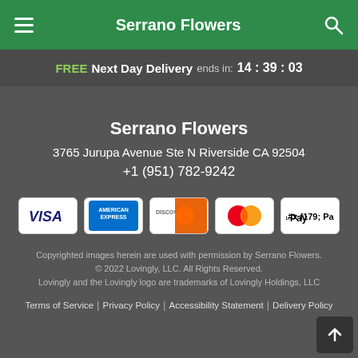Serrano Flowers
FREE Next Day Delivery ends in: 14 : 39 : 03
Serrano Flowers
3765 Jurupa Avenue Ste N Riverside CA 92504
+1 (951) 782-9242
[Figure (other): Payment method icons: VISA, American Express, Discover, Mastercard, Apple Pay]
Copyrighted images herein are used with permission by Serrano Flowers.
© 2022 Lovingly, LLC. All Rights Reserved.
Lovingly and the Lovingly logo are trademarks of Lovingly Holdings, LLC
Terms of Service | Privacy Policy | Accessibility Statement | Delivery Policy